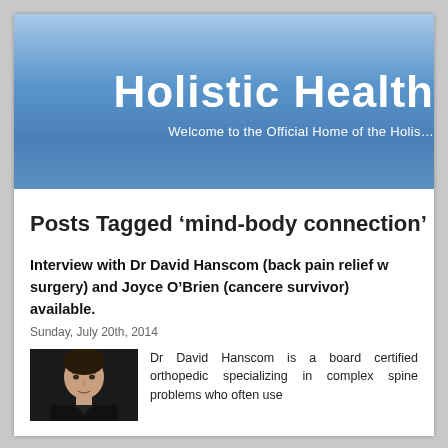Holistic Health
Welcome to the Official Home of the Holis…
Posts Tagged 'mind-body connection'
Interview with Dr David Hanscom (back pain relief w… surgery) and Joyce O'Brien (cancere survivor)… available.
Sunday, July 20th, 2014
[Figure (photo): Photo of Dr David Hanscom, a man in dark clothing]
Dr David Hanscom is a board certified orthopedic specializing in complex spine problems who often use…